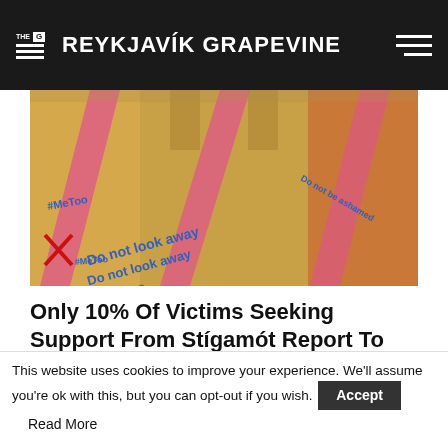THE REYKJAVÍK GRAPEVINE
[Figure (photo): Multiple mannequin torsos painted in yellow/orange with pink accents and text reading '#MeToo', 'Do not look away', 'Do not be ashamed' written across them in blue text, with red X marks. A protest art installation related to sexual violence awareness.]
Only 10% Of Victims Seeking Support From Stígamót Report To The Police
by Iryna Zubenko 2 days ago
[Figure (screenshot): Partial view of a news article preview showing a 'News' badge on a blue/grey background image]
This website uses cookies to improve your experience. We'll assume you're ok with this, but you can opt-out if you wish. Accept Read More